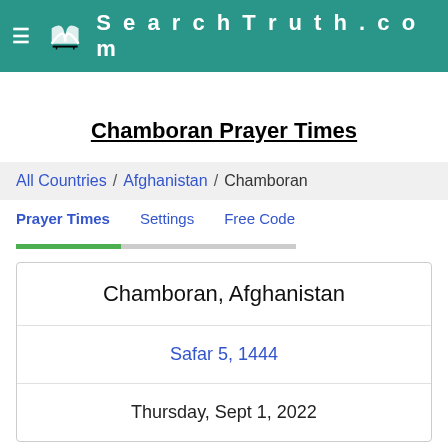SearchTruth.com
Chamboran Prayer Times
All Countries / Afghanistan / Chamboran
Prayer Times  Settings  Free Code
Chamboran, Afghanistan
Safar 5, 1444
Thursday, Sept 1, 2022